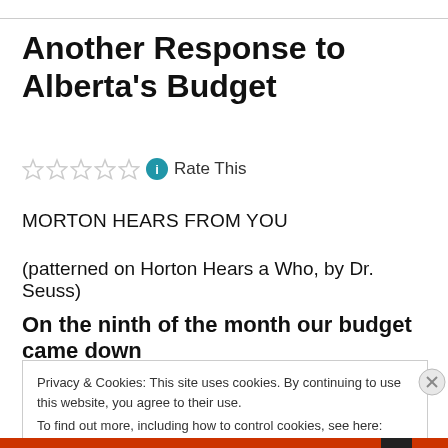Another Response to Alberta's Budget
Rate This
MORTON HEARS FROM YOU
(patterned on Horton Hears a Who, by Dr. Seuss)
On the ninth of the month our budget came down
Privacy & Cookies: This site uses cookies. By continuing to use this website, you agree to their use. To find out more, including how to control cookies, see here: Cookie Policy